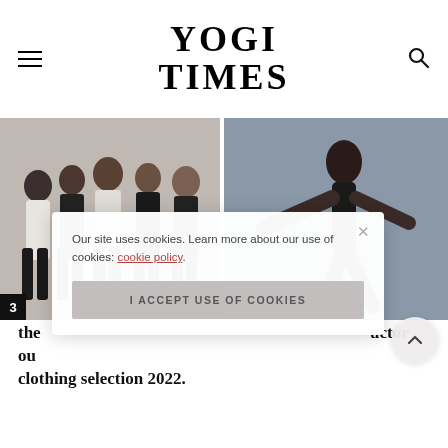YOGI TIMES
[Figure (photo): Group of people in dark clothing posing together against a light background]
[Figure (photo): Woman in yoga or dance pose against a grey-blue background]
the best yoga clothing our top yoga gear and clothing selection 2022.
Our site uses cookies. Learn more about our use of cookies: cookie policy
I ACCEPT USE OF COOKIES